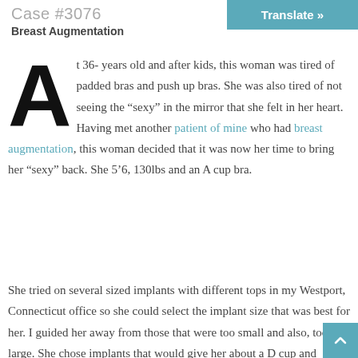Case #3076
Breast Augmentation
At 36- years old and after kids, this woman was tired of padded bras and push up bras. She was also tired of not seeing the “sexy” in the mirror that she felt in her heart. Having met another patient of mine who had breast augmentation, this woman decided that it was now her time to bring her “sexy” back. She 5’6, 130lbs and an A cup bra.
She tried on several sized implants with different tops in my Westport, Connecticut office so she could select the implant size that was best for her. I guided her away from those that were too small and also, too large. She chose implants that would give her about a D cup and balance her curvy hi